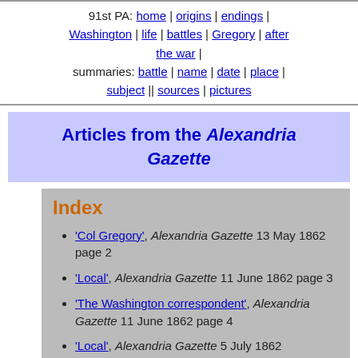91st PA: home | origins | endings | Washington | life | battles | Gregory | after the war | summaries: battle | name | date | place | subject || sources | pictures
Articles from the Alexandria Gazette
Index
'Col Gregory', Alexandria Gazette 13 May 1862 page 2
'Local', Alexandria Gazette 11 June 1862 page 3
'The Washington correspondent', Alexandria Gazette 11 June 1862 page 4
'Local', Alexandria Gazette 5 July 1862